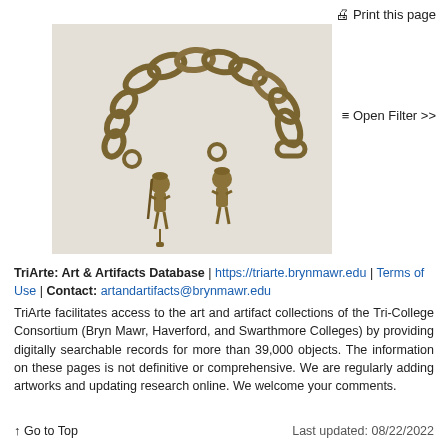🖨 Print this page
[Figure (photo): Bronze chain bracelet with two small figurine pendants, photographed on a light background.]
≡ Open Filter >>
TriArte: Art & Artifacts Database | https://triarte.brynmawr.edu | Terms of Use | Contact: artandartifacts@brynmawr.edu
TriArte facilitates access to the art and artifact collections of the Tri-College Consortium (Bryn Mawr, Haverford, and Swarthmore Colleges) by providing digitally searchable records for more than 39,000 objects. The information on these pages is not definitive or comprehensive. We are regularly adding artworks and updating research online. We welcome your comments.
↑ Go to Top    Last updated: 08/22/2022